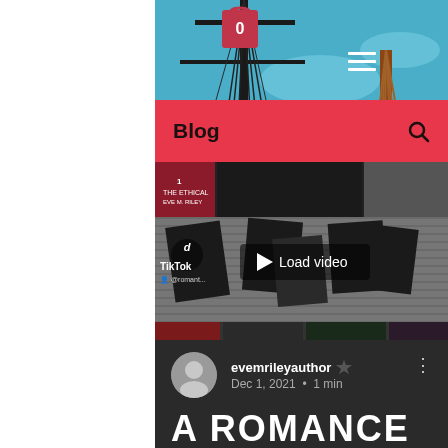[Figure (screenshot): Website screenshot showing a blog page with a bridge background photo, red Blog navigation bar, a TikTok embedded video with Load video button, author info section showing evemrileyauthor with crown icon, Dec 1, 2021 · 1 min, and the beginning of a post title 'A ROMANCE']
Blog
[Figure (screenshot): TikTok embedded video player showing Load video button with play triangle, TikTok logo and username]
evemrileyauthor 👑
Dec 1, 2021 · 1 min
A ROMANCE